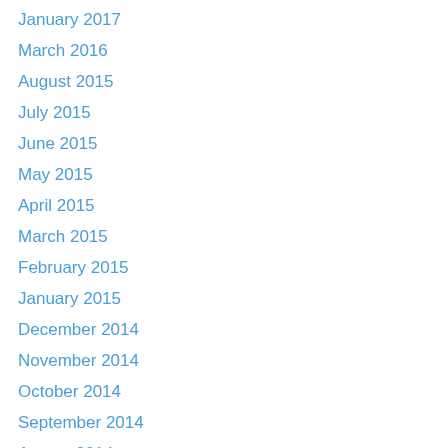January 2017
March 2016
August 2015
July 2015
June 2015
May 2015
April 2015
March 2015
February 2015
January 2015
December 2014
November 2014
October 2014
September 2014
August 2014
July 2014
June 2014
May 2014
April 2014
March 2014